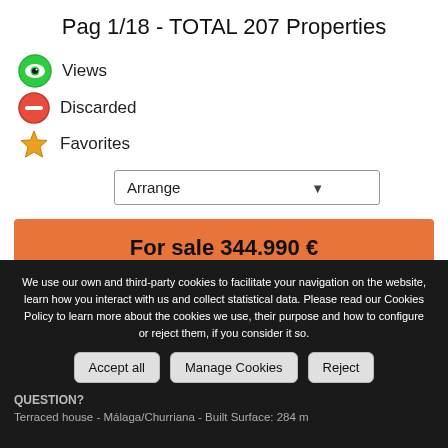Pag 1/18 - TOTAL 207 Properties
Views
Discarded
Favorites
Arrange
For sale 344.990 €
We use our own and third-party cookies to facilitate your navigation on the website, learn how you interact with us and collect statistical data. Please read our Cookies Policy to learn more about the cookies we use, their purpose and how to configure or reject them, if you consider it so.
Accept all
Manage Cookies
Reject
QUESTION?
Terraced house - Málaga/Churriana - Built Surface: 284 m